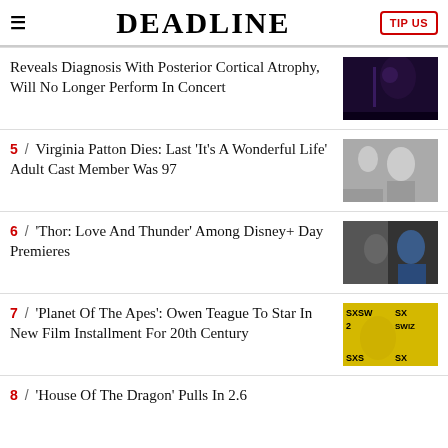DEADLINE | TIP US
Reveals Diagnosis With Posterior Cortical Atrophy, Will No Longer Perform In Concert
5 / Virginia Patton Dies: Last 'It's A Wonderful Life' Adult Cast Member Was 97
6 / 'Thor: Love And Thunder' Among Disney+ Day Premieres
7 / 'Planet Of The Apes': Owen Teague To Star In New Film Installment For 20th Century
8 / 'House Of The Dragon' Pulls In 2.6